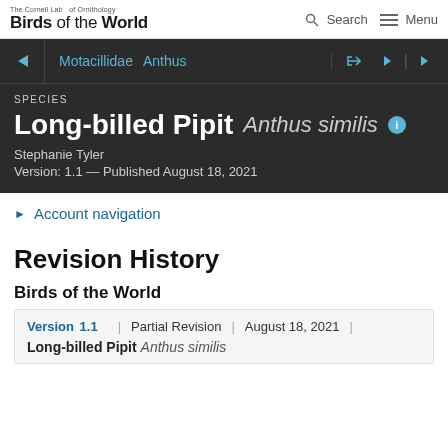The Cornell Lab of Ornithology Birds of the World | Search | Menu
Motacillidae  Anthus
SPECIES
Long-billed Pipit  Anthus similis
Stephanie Tyler
Version: 1.1 — Published August 18, 2021
Account navigation
Revision History
Birds of the World
| Version | Type | Date | Species |
| --- | --- | --- | --- |
| Version 1.1 | Partial Revision | August 18, 2021 | Long-billed Pipit  Anthus similis |